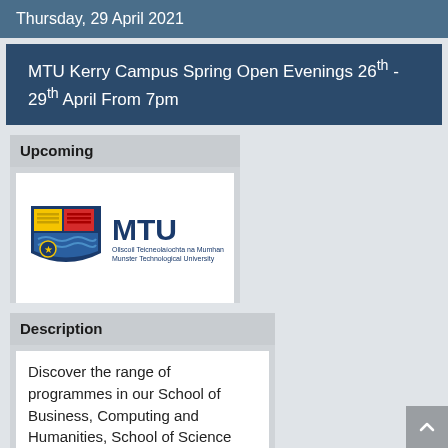Thursday, 29 April 2021
MTU Kerry Campus Spring Open Evenings 26th - 29th April From 7pm
Upcoming
[Figure (logo): MTU - Munster Technological University logo with shield emblem and Irish/English text]
Description
Discover the range of programmes in our School of Business, Computing and Humanities, School of Science